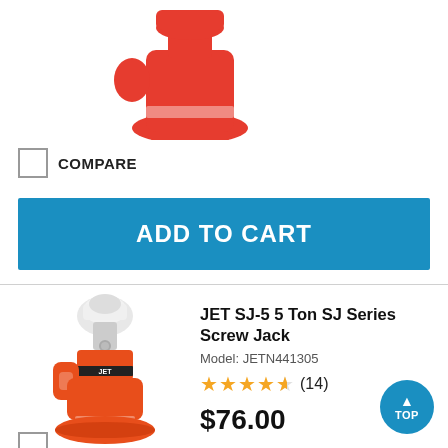[Figure (photo): Partial view of a red screw jack tool (top portion), cut off at top of page]
COMPARE
ADD TO CART
JET SJ-5 5 Ton SJ Series Screw Jack
Model: JETN441305
★★★★½ (14)
$76.00
[Figure (photo): Orange/red JET SJ-5 Screw Jack with white cap and handle, product photo on white background]